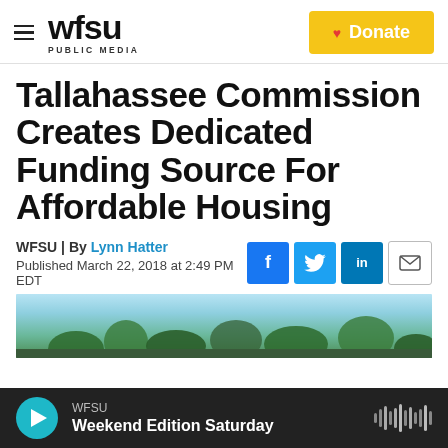WFSU PUBLIC MEDIA — Donate
Tallahassee Commission Creates Dedicated Funding Source For Affordable Housing
WFSU | By Lynn Hatter
Published March 22, 2018 at 2:49 PM EDT
[Figure (photo): Outdoor scene with trees and sky, partially visible image strip]
WFSU
Weekend Edition Saturday